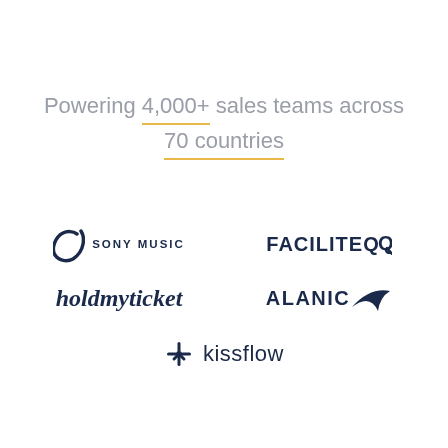Powering 4,000+ sales teams across 70 countries
[Figure (logo): Sony Music logo with crescent mark and SONY MUSIC text]
[Figure (logo): FACILITEQ logo in dark navy bold text]
[Figure (logo): holdmyticket logo in cursive dark navy font]
[Figure (logo): ALANIC logo with dark navy bold text and swoosh]
[Figure (logo): kissflow logo with snowflake-like icon and text]